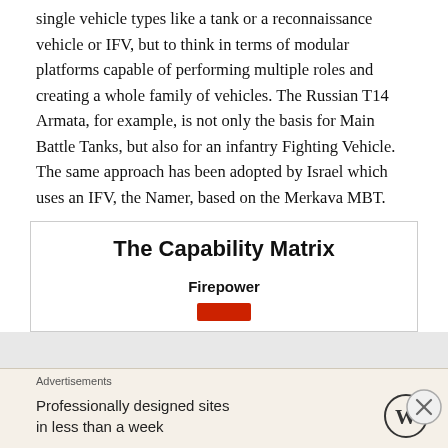single vehicle types like a tank or a reconnaissance vehicle or IFV, but to think in terms of modular platforms capable of performing multiple roles and creating a whole family of vehicles. The Russian T14 Armata, for example, is not only the basis for Main Battle Tanks, but also for an infantry Fighting Vehicle. The same approach has been adopted by Israel which uses an IFV, the Namer, based on the Merkava MBT.
The Capability Matrix
Firepower
[Figure (other): Red colored bar/indicator below Firepower label in The Capability Matrix box]
Advertisements
Professionally designed sites in less than a week